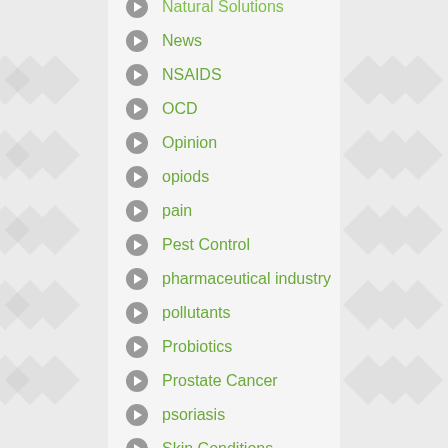Natural Solutions
News
NSAIDS
OCD
Opinion
opiods
pain
Pest Control
pharmaceutical industry
pollutants
Probiotics
Prostate Cancer
psoriasis
Skin Conditions
statins